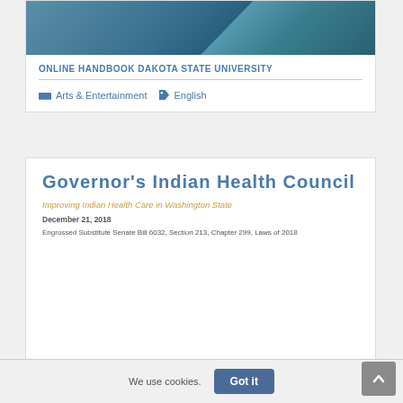[Figure (photo): Partial view of a building with teal/blue tones, cropped at top]
ONLINE HANDBOOK DAKOTA STATE UNIVERSITY
Arts & Entertainment   English
Governor's Indian Health Council
Improving Indian Health Care in Washington State
December 21, 2018
Engrossed Substitute Senate Bill 6032, Section 213, Chapter 299, Laws of 2018
We use cookies.